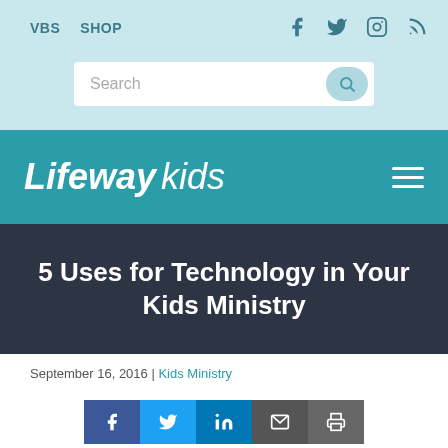VBS  SHOP
Search
Lifeway kids
5 Uses for Technology in Your Kids Ministry
September 16, 2016 | Kids Ministry